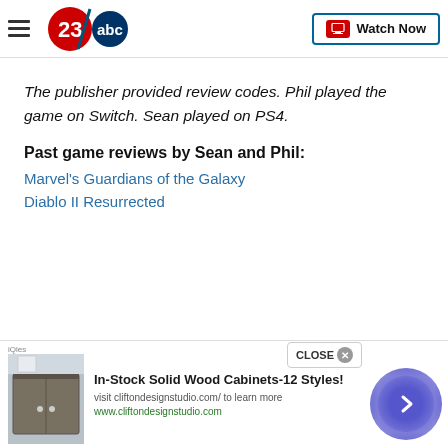[Figure (logo): 23abc news logo in red and blue]
The publisher provided review codes. Phil played the game on Switch. Sean played on PS4.
Past game reviews by Sean and Phil:
Marvel's Guardians of the Galaxy
Diablo II Resurrected
[Figure (screenshot): Advertisement for In-Stock Solid Wood Cabinets-12 Styles by cliftondesignstudio.com showing cabinet image]